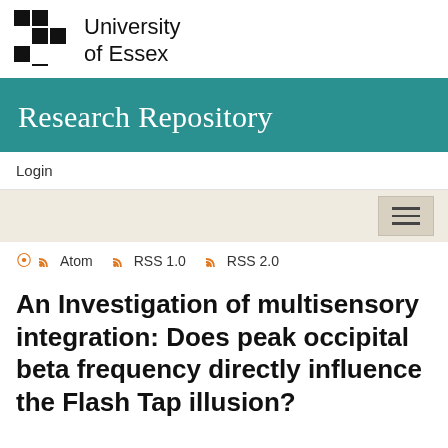[Figure (logo): University of Essex logo with black and white checkered square pattern]
University of Essex
Research Repository
Login
Atom  RSS 1.0  RSS 2.0
An Investigation of multisensory integration: Does peak occipital beta frequency directly influence the Flash Tap illusion?